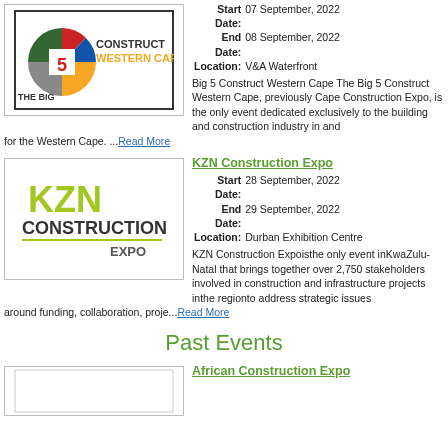[Figure (logo): The Big 5 Construct Western Cape logo with colorful pie-chart style graphic]
Start Date: 07 September, 2022
End Date: 08 September, 2022
Location: V&A Waterfront
Big 5 Construct Western Cape The Big 5 Construct Western Cape, previously Cape Construction Expo, is the only event dedicated exclusively to the building and construction industry in and for the Western Cape. ...Read More
[Figure (logo): KZN Construction Expo logo in green and dark text]
KZN Construction Expo
Start Date: 28 September, 2022
End Date: 29 September, 2022
Location: Durban Exhibition Centre
KZN Construction Expoisthe only event inKwaZulu-Natal that brings together over 2,750 stakeholders involved in construction and infrastructure projects inthe regionto address strategic issues around funding, collaboration, proje...Read More
Past Events
African Construction Expo
[Figure (logo): African Construction Expo logo (partially visible)]